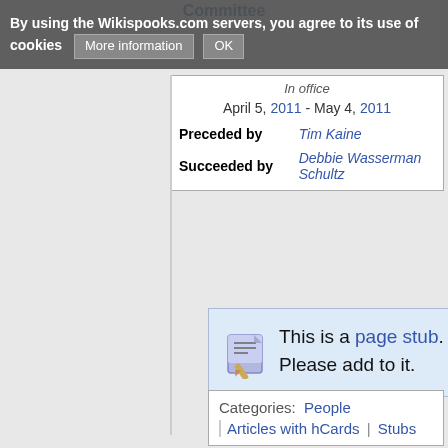Committee
By using the Wikispooks.com servers, you agree to its use of cookies  More information  OK
| In office |
| April 5, 2011 - May 4, 2011 |
| Preceded by | Tim Kaine |
| Succeeded by | Debbie Wasserman Schultz |
This is a page stub. Please add to it.
Categories:  People  |  Articles with hCards  |  Stubs